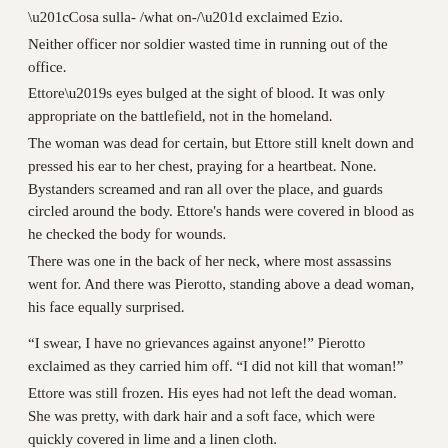“Cosa sulla- /what on-/” exclaimed Ezio.
Neither officer nor soldier wasted time in running out of the office.
Ettore’s eyes bulged at the sight of blood. It was only appropriate on the battlefield, not in the homeland.
The woman was dead for certain, but Ettore still knelt down and pressed his ear to her chest, praying for a heartbeat. None. Bystanders screamed and ran all over the place, and guards circled around the body. Ettore’s hands were covered in blood as he checked the body for wounds.
There was one in the back of her neck, where most assassins went for. And there was Pierotto, standing above a dead woman, his face equally surprised.
“I swear, I have no grievances against anyone!” Pierotto exclaimed as they carried him off. “I did not kill that woman!”
Ettore was still frozen. His eyes had not left the dead woman. She was pretty, with dark hair and a soft face, which were quickly covered in lime and a linen cloth.
“Requiescat in pace, /rest in peace/” the chorus whispered. All those present made a Sign of the Cross as the guards carried the body away. Ettore was sluggish to do so. His mind was racing and his body wasn’t listening. His thoughts had better things to do.